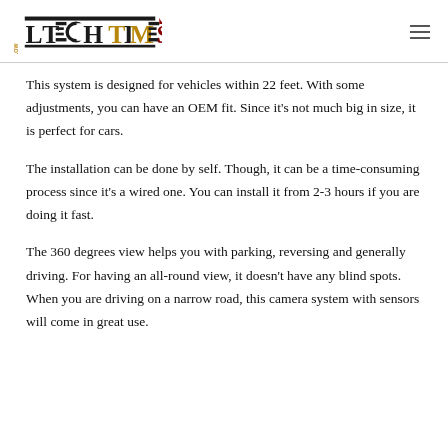Low Tech Times
This system is designed for vehicles within 22 feet. With some adjustments, you can have an OEM fit. Since it's not much big in size, it is perfect for cars.
The installation can be done by self. Though, it can be a time-consuming process since it's a wired one. You can install it from 2-3 hours if you are doing it fast.
The 360 degrees view helps you with parking, reversing and generally driving. For having an all-round view, it doesn't have any blind spots. When you are driving on a narrow road, this camera system with sensors will come in great use.